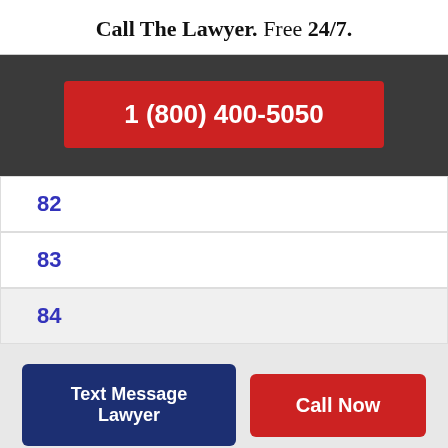Call The Lawyer. Free 24/7.
1 (800) 400-5050
82
83
84
Text Message Lawyer
Call Now
Millions of Dollars Recovered